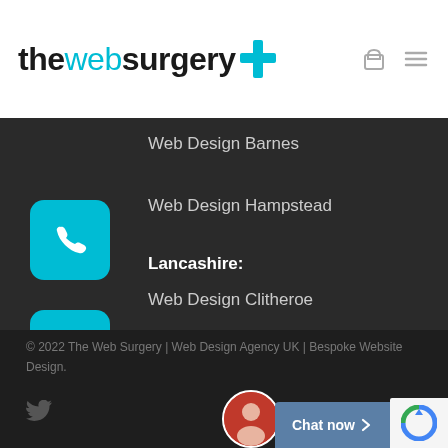thewebsurgery+
Web Design Barnes
Web Design Hampstead
Lancashire:
Web Design Clitheroe
Web Design Padiham
© 2022 The Web Surgery | Web Design Agency UK | Bespoke Website Design.